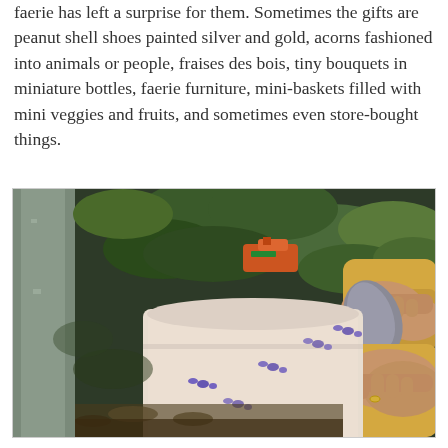faerie has left a surprise for them. Sometimes the gifts are peanut shell shoes painted silver and gold, acorns fashioned into animals or people, fraises des bois, tiny bouquets in miniature bottles, faerie furniture, mini-baskets filled with mini veggies and fruits, and sometimes even store-bought things.
[Figure (photo): Person's hands opening a small white metal mailbox with butterfly stickers on it, situated at the base of a post among garden plants and leaves.]